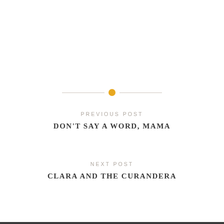[Figure (other): Decorative divider with a horizontal line and an amber/yellow circle dot in the center]
PREVIOUS POST
DON'T SAY A WORD, MAMA
NEXT POST
CLARA AND THE CURANDERA